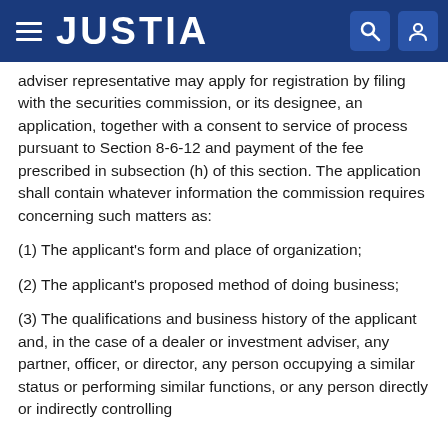JUSTIA
adviser representative may apply for registration by filing with the securities commission, or its designee, an application, together with a consent to service of process pursuant to Section 8-6-12 and payment of the fee prescribed in subsection (h) of this section. The application shall contain whatever information the commission requires concerning such matters as:
(1) The applicant's form and place of organization;
(2) The applicant's proposed method of doing business;
(3) The qualifications and business history of the applicant and, in the case of a dealer or investment adviser, any partner, officer, or director, any person occupying a similar status or performing similar functions, or any person directly or indirectly controlling the dealer or investment adviser;